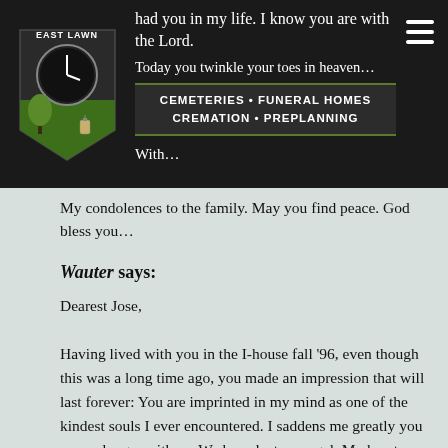East Lawn Cemeteries • Funeral Homes • Cremation • Preplanning
had you in my life. I know you are with the Lord.
Today you twinkle your toes in heaven…
With…
My condolences to the family. May you find peace. God bless you…
Wauter says:
Dearest Jose,
Having lived with you in the I-house fall '96, even though this was a long time ago, you made an impression that will last forever: You are imprinted in my mind as one of the kindest souls I ever encountered. I saddens me greatly you are no longer with us. We have lost an angel. My heart